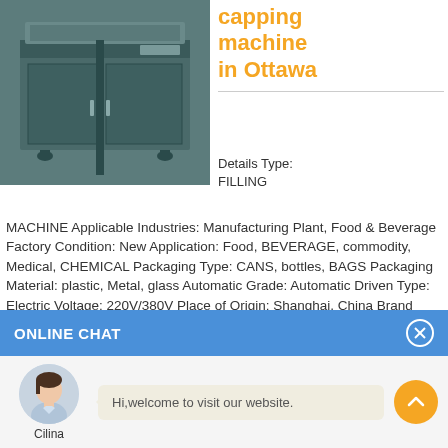[Figure (photo): Industrial filling/capping machine - dark metallic cabinet with conveyor top]
capping machine in Ottawa
Details Type: FILLING MACHINE Applicable Industries: Manufacturing Plant, Food & Beverage Factory Condition: New Application: Food, BEVERAGE, commodity, Medical, CHEMICAL Packaging Type: CANS, bottles, BAGS Packaging Material: plastic, Metal, glass Automatic Grade: Automatic Driven Type: Electric Voltage: 220V/380V Place of Origin: Shanghai, China Brand Name: NPACk Dimension(L*W*H): 2500*1500*1800mm Weight: 500kg Certification: CE ISO Warranty: 1 YEAR After-sales Service Provided: Online ...
ONLINE CHAT
[Figure (photo): Customer service avatar - woman named Cilina]
Hi,welcome to visit our website.
Cilina